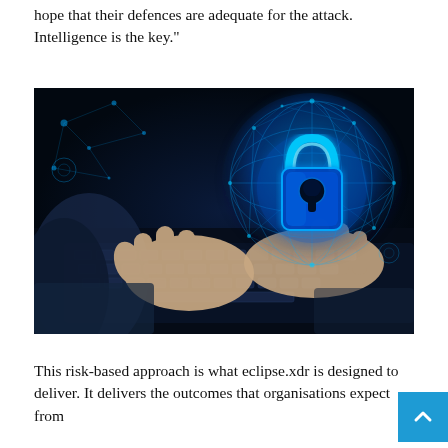hope that their defences are adequate for the attack. Intelligence is the key."
[Figure (photo): Hands typing on a laptop keyboard with a glowing blue digital padlock/security lock hologram hovering above the keyboard on the right side, set against a dark background with network connection patterns.]
This risk-based approach is what eclipse.xdr is designed to deliver. It delivers the outcomes that organisations expect from